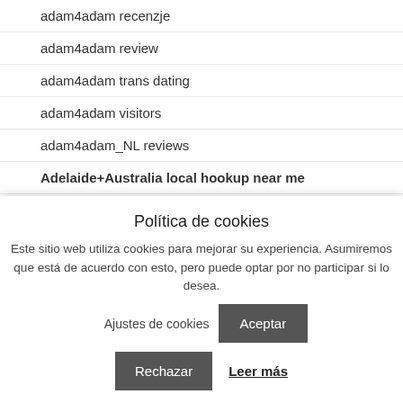adam4adam recenzje
adam4adam review
adam4adam trans dating
adam4adam visitors
adam4adam_NL reviews
Adelaide+Australia local hookup near me
Adelaide+Australia Related Site
adopteunmec review
Política de cookies
Este sitio web utiliza cookies para mejorar su experiencia. Asumiremos que está de acuerdo con esto, pero puede optar por no participar si lo desea.
Ajustes de cookies
Aceptar
Rechazar
Leer más